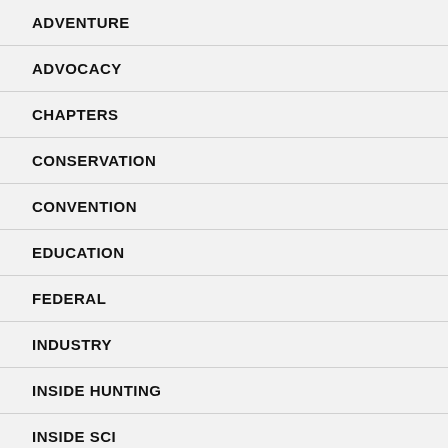ADVENTURE
ADVOCACY
CHAPTERS
CONSERVATION
CONVENTION
EDUCATION
FEDERAL
INDUSTRY
INSIDE HUNTING
INSIDE SCI
INTERNATIONAL
LEADERSHIP